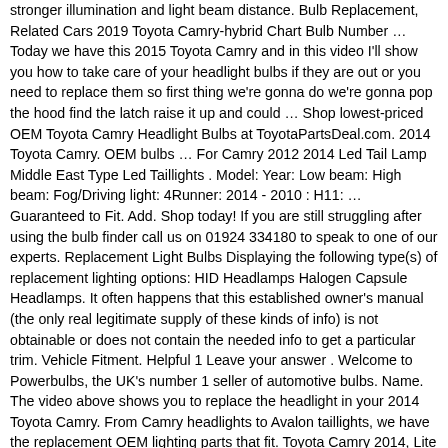stronger illumination and light beam distance. Bulb Replacement, Related Cars 2019 Toyota Camry-hybrid Chart Bulb Number … Today we have this 2015 Toyota Camry and in this video I'll show you how to take care of your headlight bulbs if they are out or you need to replace them so first thing we're gonna do we're gonna pop the hood find the latch raise it up and could … Shop lowest-priced OEM Toyota Camry Headlight Bulbs at ToyotaPartsDeal.com. 2014 Toyota Camry. OEM bulbs … For Camry 2012 2014 Led Tail Lamp Middle East Type Led Taillights . Model: Year: Low beam: High beam: Fog/Driving light: 4Runner: 2014 - 2010 : H11: … Guaranteed to Fit. Add. Shop today! If you are still struggling after using the bulb finder call us on 01924 334180 to speak to one of our experts. Replacement Light Bulbs Displaying the following type(s) of replacement lighting options: HID Headlamps Halogen Capsule Headlamps. It often happens that this established owner's manual (the only real legitimate supply of these kinds of info) is not obtainable or does not contain the needed info to get a particular trim. Vehicle Fitment. Helpful 1 Leave your answer . Welcome to Powerbulbs, the UK's number 1 seller of automotive bulbs. Name. The video above shows you to replace the headlight in your 2014 Toyota Camry. From Camry headlights to Avalon taillights, we have the replacement OEM lighting parts that fit. Toyota Camry 2014, Lite Driverless LED Headlight Conversion Kit by XKGlow®. Related Parts 2014 Toyota Camry Back-Up Light Mini Bulb 2014 Toyota Camry … Camry lamp finder is a one-stop guide designed to pop-up the bolt-on light bulbs list for every